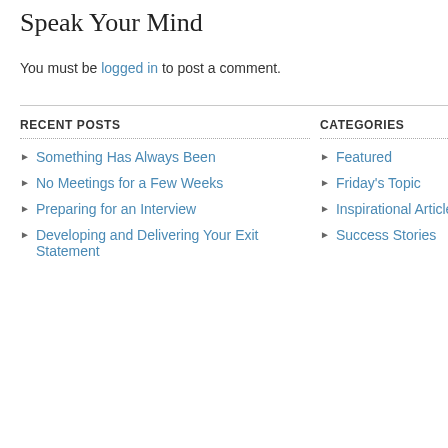Speak Your Mind
You must be logged in to post a comment.
RECENT POSTS
Something Has Always Been
No Meetings for a Few Weeks
Preparing for an Interview
Developing and Delivering Your Exit Statement
CATEGORIES
Featured
Friday's Topic
Inspirational Article
Success Stories